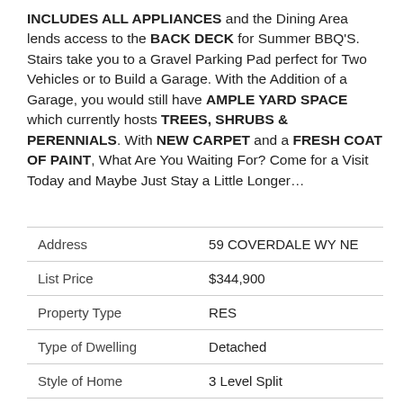INCLUDES ALL APPLIANCES and the Dining Area lends access to the BACK DECK for Summer BBQ'S. Stairs take you to a Gravel Parking Pad perfect for Two Vehicles or to Build a Garage. With the Addition of a Garage, you would still have AMPLE YARD SPACE which currently hosts TREES, SHRUBS & PERENNIALS. With NEW CARPET and a FRESH COAT OF PAINT, What Are You Waiting For? Come for a Visit Today and Maybe Just Stay a Little Longer...
| Address | 59 COVERDALE WY NE |
| List Price | $344,900 |
| Property Type | RES |
| Type of Dwelling | Detached |
| Style of Home | 3 Level Split |